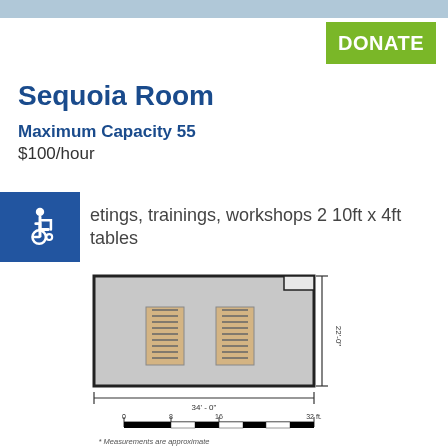[Figure (photo): Top image bar strip]
DONATE
Sequoia Room
Maximum Capacity 55
$100/hour
etings, trainings, workshops 2 10ft x 4ft tables
[Figure (engineering-diagram): Floor plan of Sequoia Room showing two rectangular tables arranged inside the room. Dimensions: 34'-0" wide, 22'-0" deep. Includes scale bar and note: * Measurements are approximate.]